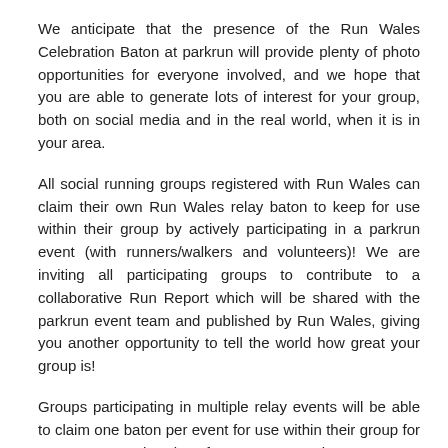We anticipate that the presence of the Run Wales Celebration Baton at parkrun will provide plenty of photo opportunities for everyone involved, and we hope that you are able to generate lots of interest for your group, both on social media and in the real world, when it is in your area.
All social running groups registered with Run Wales can claim their own Run Wales relay baton to keep for use within their group by actively participating in a parkrun event (with runners/walkers and volunteers)! We are inviting all participating groups to contribute to a collaborative Run Report which will be shared with the parkrun event team and published by Run Wales, giving you another opportunity to tell the world how great your group is!
Groups participating in multiple relay events will be able to claim one baton per event for use within their group for years to come, but don't forget to ensure that your group is fully registered with us, is represented on our Group Finder tool, and has accurate information on your free, bespoke webpage